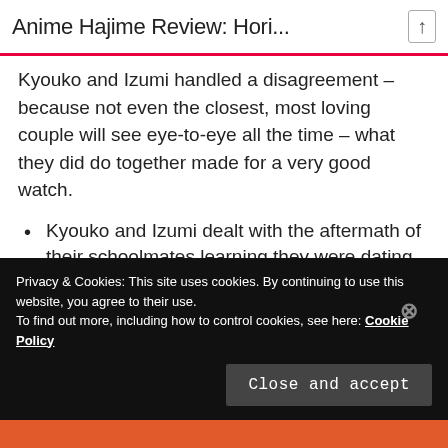Anime Hajime Review: Hori...
Kyouko and Izumi handled a disagreement – because not even the closest, most loving couple will see eye-to-eye all the time – what they did do together made for a very good watch.
Kyouko and Izumi dealt with the aftermath of their schoolmates learning they were dating.
They defended each other when dark spots in their pasts came up.
Privacy & Cookies: This site uses cookies. By continuing to use this website, you agree to their use.
To find out more, including how to control cookies, see here: Cookie Policy
Close and accept